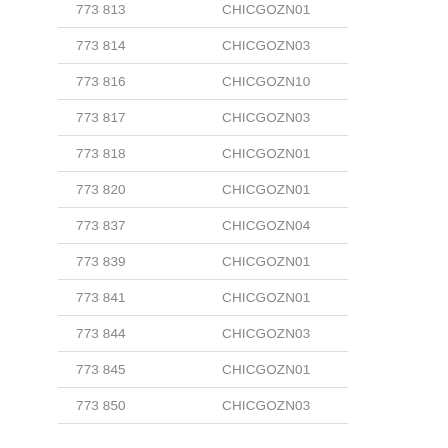| 773 813 | CHICGOZN01 |
| 773 814 | CHICGOZN03 |
| 773 816 | CHICGOZN10 |
| 773 817 | CHICGOZN03 |
| 773 818 | CHICGOZN01 |
| 773 820 | CHICGOZN01 |
| 773 837 | CHICGOZN04 |
| 773 839 | CHICGOZN01 |
| 773 841 | CHICGOZN01 |
| 773 844 | CHICGOZN03 |
| 773 845 | CHICGOZN01 |
| 773 850 | CHICGOZN03 |